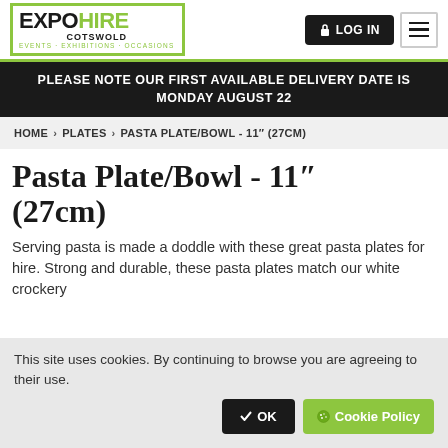EXPO HIRE COTSWOLD - EVENTS · EXHIBITIONS · OCCASIONS
PLEASE NOTE OUR FIRST AVAILABLE DELIVERY DATE IS MONDAY AUGUST 22
HOME › PLATES › PASTA PLATE/BOWL - 11″ (27CM)
Pasta Plate/Bowl - 11″ (27cm)
Serving pasta is made a doddle with these great pasta plates for hire. Strong and durable, these pasta plates match our white crockery
This site uses cookies. By continuing to browse you are agreeing to their use. ✔ OK  🍪 Cookie Policy